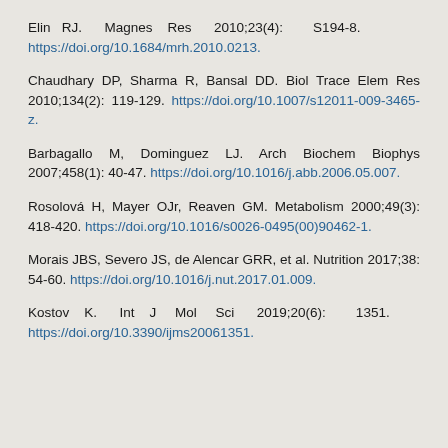Elin RJ. Magnes Res 2010;23(4): S194-8. https://doi.org/10.1684/mrh.2010.0213.
Chaudhary DP, Sharma R, Bansal DD. Biol Trace Elem Res 2010;134(2): 119-129. https://doi.org/10.1007/s12011-009-3465-z.
Barbagallo M, Dominguez LJ. Arch Biochem Biophys 2007;458(1): 40-47. https://doi.org/10.1016/j.abb.2006.05.007.
Rosolová H, Mayer OJr, Reaven GM. Metabolism 2000;49(3): 418-420. https://doi.org/10.1016/s0026-0495(00)90462-1.
Morais JBS, Severo JS, de Alencar GRR, et al. Nutrition 2017;38: 54-60. https://doi.org/10.1016/j.nut.2017.01.009.
Kostov K. Int J Mol Sci 2019;20(6): 1351. https://doi.org/10.3390/ijms20061351.